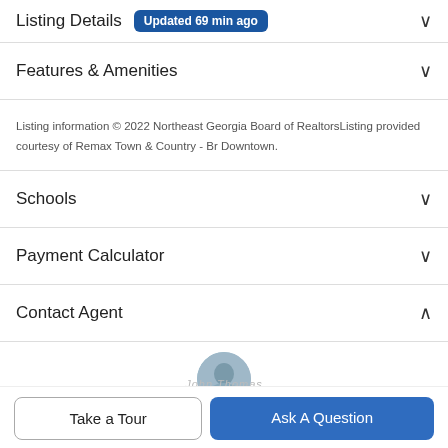Listing Details Updated 69 min ago
Features & Amenities
Listing information © 2022 Northeast Georgia Board of RealtorsListing provided courtesy of Remax Town & Country - Br Downtown.
Schools
Payment Calculator
Contact Agent
[Figure (photo): Agent profile photo (circular, partially visible)]
John Thomas
Take a Tour
Ask A Question